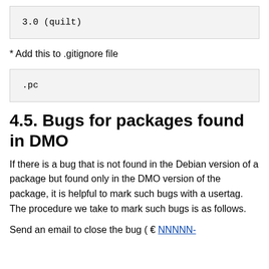[Figure (screenshot): Code block containing: 3.0 (quilt)]
* Add this to .gitignore file
[Figure (screenshot): Code block containing: .pc]
4.5. Bugs for packages found in DMO
If there is a bug that is not found in the Debian version of a package but found only in the DMO version of the package, it is helpful to mark such bugs with a usertag. The procedure we take to mark such bugs is as follows.
Send an email to close the bug ( NNNNN-